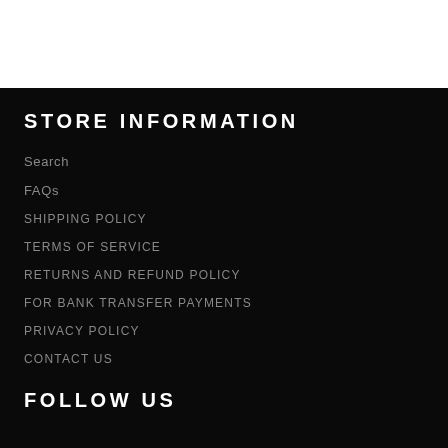STORE INFORMATION
Search
FAQs
SHIPPING POLICY
TERMS OF SERVICE
RETURNS AND REFUND POLICY
FOR BANK TRANSFER PAYMENTS
PRIVACY POLICY
CONTACT US
FOLLOW US